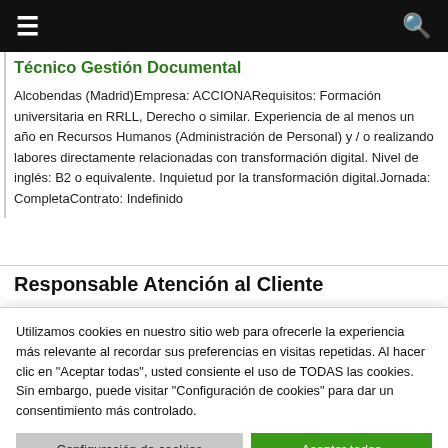≡  🔍
Técnico Gestión Documental
Alcobendas (Madrid)Empresa: ACCIONARequisitos: Formación universitaria en RRLL, Derecho o similar. Experiencia de al menos un año en Recursos Humanos (Administración de Personal) y / o realizando labores directamente relacionadas con transformación digital. Nivel de inglés: B2 o equivalente. Inquietud por la transformación digital.Jornada: CompletaContrato: Indefinido
Responsable Atención al Cliente
Utilizamos cookies en nuestro sitio web para ofrecerle la experiencia más relevante al recordar sus preferencias en visitas repetidas. Al hacer clic en "Aceptar todas", usted consiente el uso de TODAS las cookies. Sin embargo, puede visitar "Configuración de cookies" para dar un consentimiento más controlado.
Configuración de cookies
Aceptar todas
Cambiar Idioma »